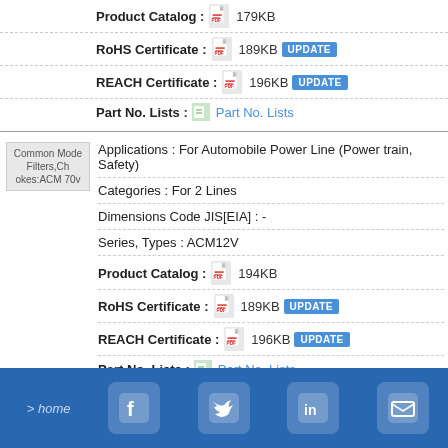Product Catalog : 179KB
RoHS Certificate : 189KB UPDATE
REACH Certificate : 196KB UPDATE
Part No. Lists : Part No. Lists
[Figure (other): Common Mode Filters, Chokes: ACM70v product image placeholder]
Applications : For Automobile Power Line (Power train, Safety)
Categories : For 2 Lines
Dimensions Code JIS[EIA] : -
Series, Types : ACM12V
Product Catalog : 194KB
RoHS Certificate : 189KB UPDATE
REACH Certificate : 196KB UPDATE
Part No. Lists : Part No. Lists
Social media icons: Facebook, Twitter, LinkedIn, Email